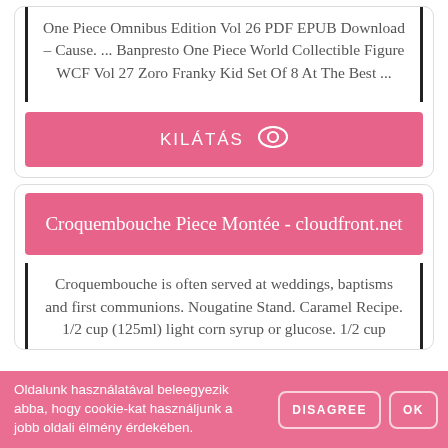One Piece Omnibus Edition Vol 26 PDF EPUB Download – Cause. ... Banpresto One Piece World Collectible Figure WCF Vol 27 Zoro Franky Kid Set Of 8 At The Best ...
KILÁTÁS
Croquembouche Piece Montée - cloudfront.net
Croquembouche is often served at weddings, baptisms and first communions. Nougatine Stand. Caramel Recipe. 1/2 cup (125ml) light corn syrup or glucose. 1/2 cup…
Oldalunk használatával beleegyezik abba, hogy cookie-kat használjunk a jobb oldali élmény érdekében.